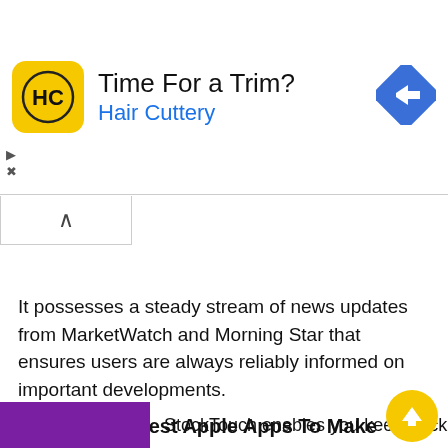[Figure (infographic): Hair Cuttery advertisement banner with yellow logo showing HC initials, text 'Time For a Trim?' and 'Hair Cuttery' in blue, and a blue diamond navigation icon on the right]
It possesses a steady stream of news updates from MarketWatch and Morning Star that ensures users are always reliably informed on important developments.
Related: 10 Best Apple Apps To Make Money
StockTouch
StockTouch enables you keep track